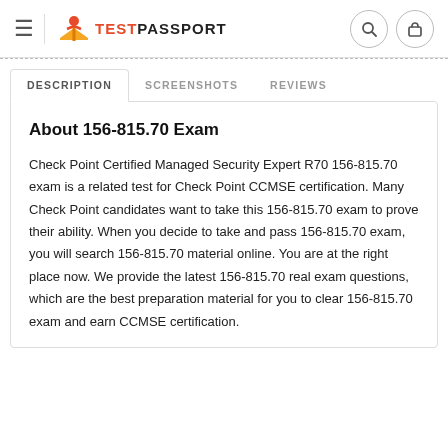TestPassport
DESCRIPTION | SCREENSHOTS | REVIEWS
About 156-815.70 Exam
Check Point Certified Managed Security Expert R70 156-815.70 exam is a related test for Check Point CCMSE certification. Many Check Point candidates want to take this 156-815.70 exam to prove their ability. When you decide to take and pass 156-815.70 exam, you will search 156-815.70 material online. You are at the right place now. We provide the latest 156-815.70 real exam questions, which are the best preparation material for you to clear 156-815.70 exam and earn CCMSE certification.